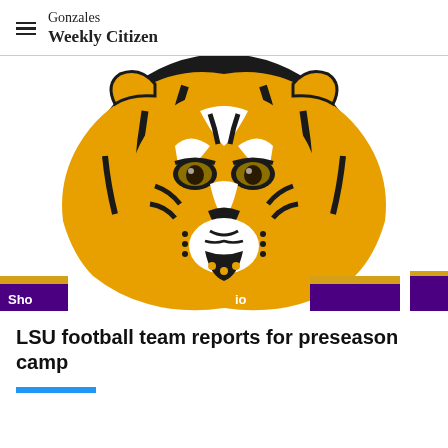Gonzales Weekly Citizen
[Figure (logo): LSU Tigers mascot logo — stylized tiger head facing forward with gold and black coloring, white facial markings, set against white background. Bottom of image shows partial gold and purple decorative banner elements with text 'Sho[w]' and 'io[n]' partially visible.]
LSU football team reports for preseason camp